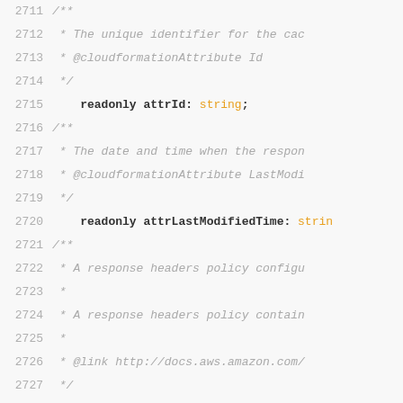Code listing lines 2711-2728, TypeScript interface definition with JSDoc comments
2711  /**
2712   * The unique identifier for the ca...
2713   * @cloudformationAttribute Id
2714   */
2715  readonly attrId: string;
2716  /**
2717   * The date and time when the respon...
2718   * @cloudformationAttribute LastModi...
2719   */
2720  readonly attrLastModifiedTime: strin...
2721  /**
2722   * A response headers policy configu...
2723   *
2724   * A response headers policy contain...
2725   *
2726   * @link http://docs.aws.amazon.com/...
2727   */
2728  responseHeadersPolicyConfig: CfnResp...